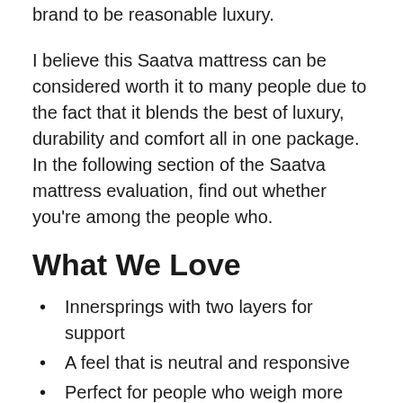brand to be reasonable luxury.
I believe this Saatva mattress can be considered worth it to many people due to the fact that it blends the best of luxury, durability and comfort all in one package. In the following section of the Saatva mattress evaluation, find out whether you're among the people who.
What We Love
Innersprings with two layers for support
A feel that is neutral and responsive
Perfect for people who weigh more and need more support